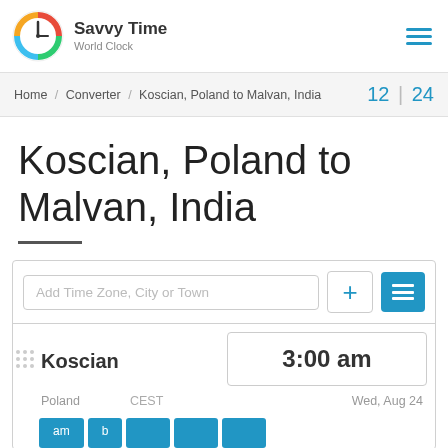Savvy Time World Clock
Home / Converter / Koscian, Poland to Malvan, India   12 | 24
Koscian, Poland to Malvan, India
Add Time Zone, City or Town
Koscian  3:00 am  Poland  CEST  Wed, Aug 24